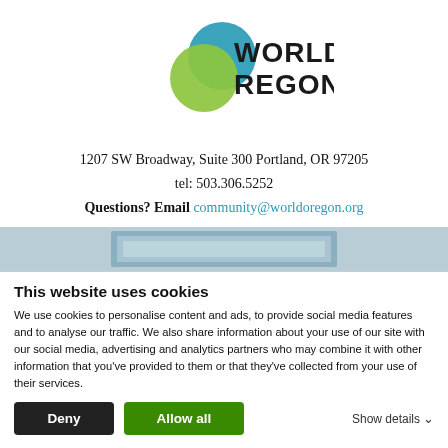[Figure (logo): WorldOregon logo with teal and green overlapping circles and bold text]
1207 SW Broadway, Suite 300 Portland, OR 97205
tel: 503.306.5252
Questions? Email community@worldoregon.org
[Figure (screenshot): Partial banner/image area with light blue rectangle UI element]
This website uses cookies
We use cookies to personalise content and ads, to provide social media features and to analyse our traffic. We also share information about your use of our site with our social media, advertising and analytics partners who may combine it with other information that you've provided to them or that they've collected from your use of their services.
Deny   Allow all   Show details